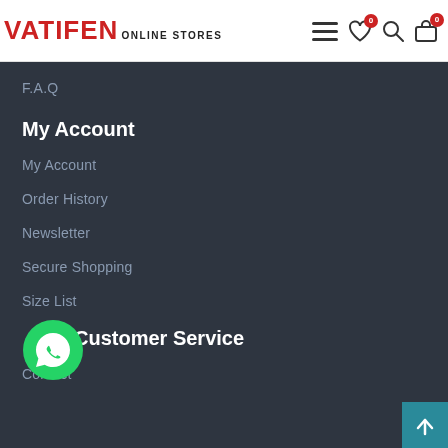VATIFEN ONLINE STORES
F.A.Q
My Account
My Account
Order History
Newsletter
Secure Shopping
Size List
Customer Service
Contact